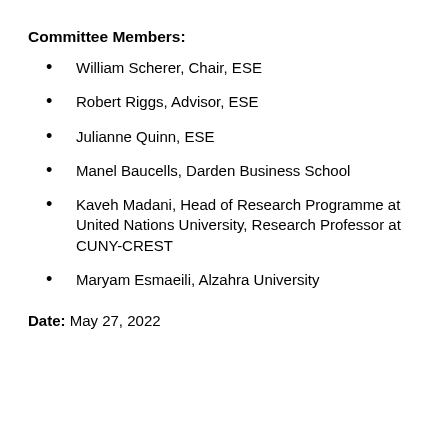Committee Members:
William Scherer, Chair, ESE
Robert Riggs, Advisor, ESE
Julianne Quinn, ESE
Manel Baucells, Darden Business School
Kaveh Madani, Head of Research Programme at United Nations University, Research Professor at CUNY-CREST
Maryam Esmaeili, Alzahra University
Date: May 27, 2022